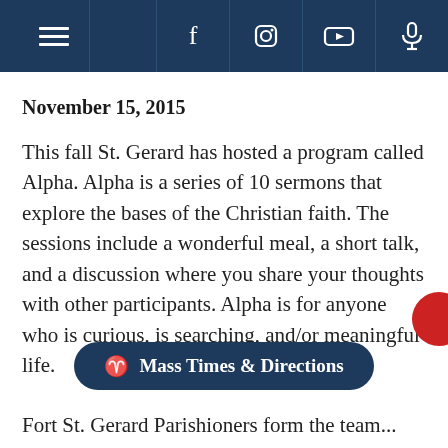Navigation bar with hamburger menu, Facebook, Instagram, YouTube, microphone icons
November 15, 2015
This fall St. Gerard has hosted a program called Alpha. Alpha is a series of 10 sermons that explore the bases of the Christian faith. The sessions include a wonderful meal, a short talk, and a discussion where you share your thoughts with other participants. Alpha is for anyone who is curious, is searching, and/or meaningful life.
Mass Times & Directions
Fort St. Gerard Parishioners form the team...